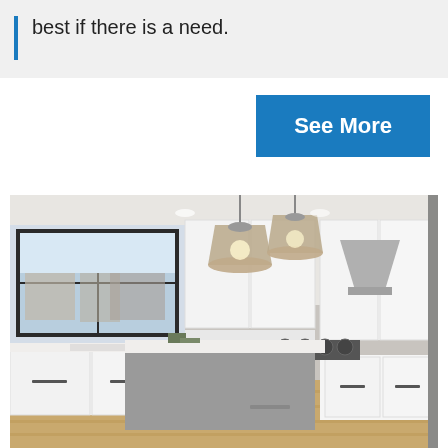best if there is a need.
See More
[Figure (photo): Interior kitchen photo showing white cabinets, kitchen island with white countertop, pendant lights hanging from ceiling, large window above sink, stainless steel range hood, hardwood floors]